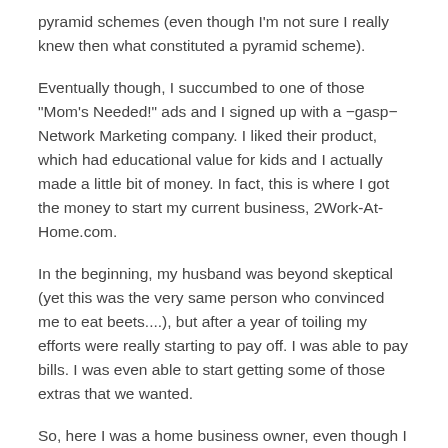pyramid schemes (even though I'm not sure I really knew then what constituted a pyramid scheme).
Eventually though, I succumbed to one of those "Mom's Needed!" ads and I signed up with a −gasp− Network Marketing company. I liked their product, which had educational value for kids and I actually made a little bit of money. In fact, this is where I got the money to start my current business, 2Work-At-Home.com.
In the beginning, my husband was beyond skeptical (yet this was the very same person who convinced me to eat beets....), but after a year of toiling my efforts were really starting to pay off. I was able to pay bills. I was even able to start getting some of those extras that we wanted.
So, here I was a home business owner, even though I had started out with the firm and non-negotiable goal of securing a telecommute job. And you know what? I think